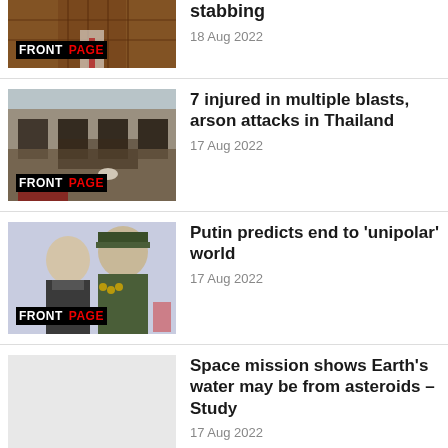[Figure (photo): Partial news thumbnail with FRONTPAGE logo overlay, man in patterned outfit]
stabbing
18 Aug 2022
[Figure (photo): Damaged building with fire and debris, Thailand blast scene, FRONTPAGE logo overlay]
7 injured in multiple blasts, arson attacks in Thailand
17 Aug 2022
[Figure (photo): Putin with military general in green uniform, FRONTPAGE logo overlay]
Putin predicts end to 'unipolar' world
17 Aug 2022
Space mission shows Earth's water may be from asteroids – Study
17 Aug 2022